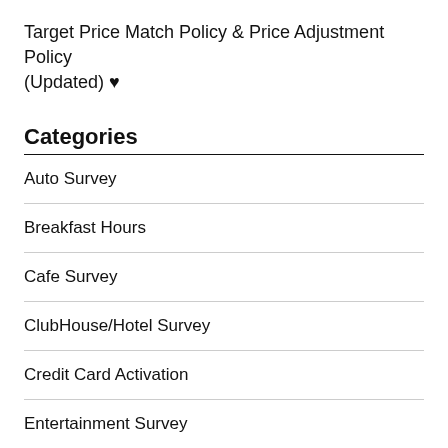Target Price Match Policy & Price Adjustment Policy (Updated) ♥
Categories
Auto Survey
Breakfast Hours
Cafe Survey
ClubHouse/Hotel Survey
Credit Card Activation
Entertainment Survey
Food Survey